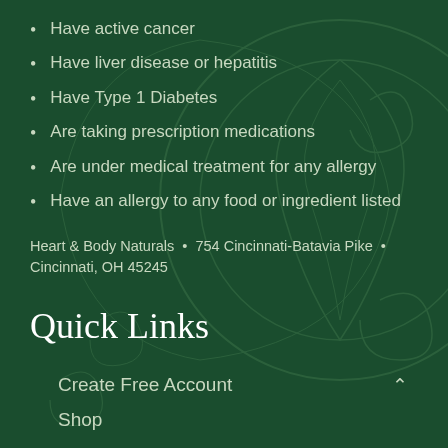Have active cancer
Have liver disease or hepatitis
Have Type 1 Diabetes
Are taking prescription medications
Are under medical treatment for any allergy
Have an allergy to any food or ingredient listed
Heart & Body Naturals  •  754 Cincinnati-Batavia Pike  •  Cincinnati, OH 45245
Quick Links
Create Free Account
Shop